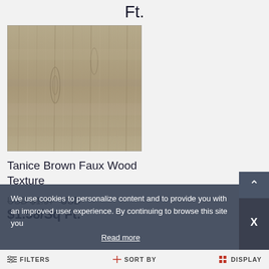Ft.
[Figure (photo): Tanice Brown Faux Wood Texture product tile image showing wood grain pattern in grey-brown tones]
Tanice Brown Faux Wood Texture
USD $1.97  USD $1.58/Sq Ft.
We use cookies to personalize content and to provide you with an improved user experience. By continuing to browse this site you
Read more